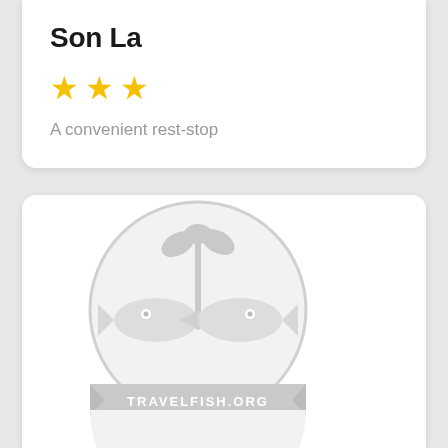Son La
★★★
A convenient rest-stop
[Figure (logo): Travelfish.org circular logo in light gray showing two fish facing each other with a plant/tree between them, with 'TRAVELFISH.ORG' text banner across the bottom of the circle]